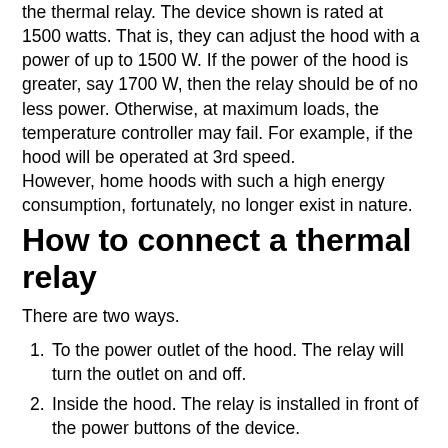the thermal relay. The device shown is rated at 1500 watts. That is, they can adjust the hood with a power of up to 1500 W. If the power of the hood is greater, say 1700 W, then the relay should be of no less power. Otherwise, at maximum loads, the temperature controller may fail. For example, if the hood will be operated at 3rd speed. However, home hoods with such a high energy consumption, fortunately, no longer exist in nature.
How to connect a thermal relay
There are two ways.
To the power outlet of the hood. The relay will turn the outlet on and off.
Inside the hood. The relay is installed in front of the power buttons of the device.
In the first case, the thermal relay works in more comfortable conditions, since the temperature inside